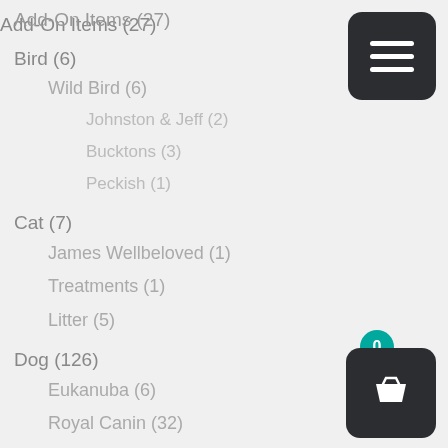Add-On Items (27)
Bird (6)
Wild Bird (6)
Johnston & Jeff (2)
Bucktons (3)
Peckish (1)
Cat (7)
James Wellbeloved (1)
Treatments (1)
Litter (5)
Dog (126)
Eukanuba (6)
Royal Canin (32)
Burns (5)
Treatments (1)
[Figure (screenshot): Dark rounded square menu button with three white horizontal lines (hamburger icon)]
[Figure (screenshot): Dark rounded square basket/cart button with white basket icon and teal badge showing 0]